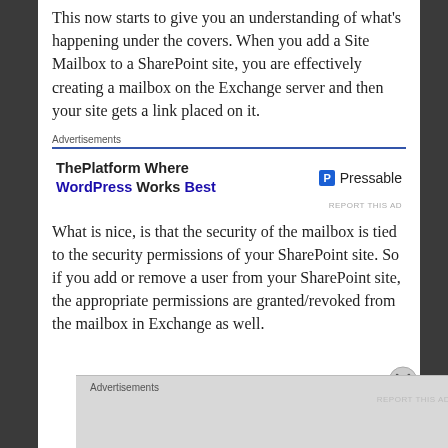This now starts to give you an understanding of what's happening under the covers. When you add a Site Mailbox to a SharePoint site, you are effectively creating a mailbox on the Exchange server and then your site gets a link placed on it.
[Figure (infographic): Advertisement banner: 'ThePlatform Where WordPress Works Best' with Pressable logo]
What is nice, is that the security of the mailbox is tied to the security permissions of your SharePoint site. So if you add or remove a user from your SharePoint site, the appropriate permissions are granted/revoked from the mailbox in Exchange as well.
Advertisements